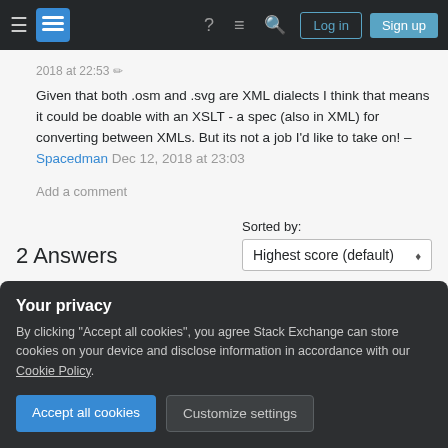Stack Exchange navigation bar with hamburger menu, logo, help, chat, search icons, Log in and Sign up buttons
2018 at 22:53 ✏
Given that both .osm and .svg are XML dialects I think that means it could be doable with an XSLT - a spec (also in XML) for converting between XMLs. But its not a job I'd like to take on! – Spacedman Dec 12, 2018 at 23:03
Add a comment
2 Answers
Sorted by:
Highest score (default)
Your privacy
By clicking "Accept all cookies", you agree Stack Exchange can store cookies on your device and disclose information in accordance with our Cookie Policy.
Accept all cookies
Customize settings